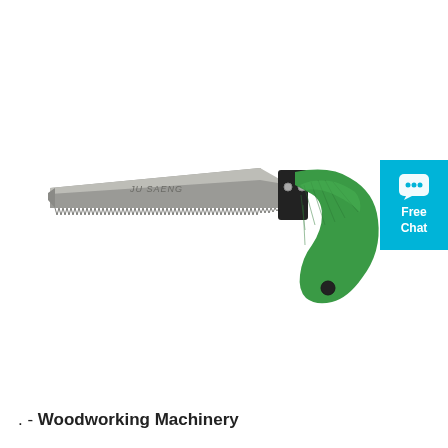[Figure (photo): A hand saw (pruning/woodworking saw) with a silver serrated blade and a green ergonomic handle with a black collar and two silver rivets, shown against a white background. The blade has 'JU SAENG' text on it.]
[Figure (infographic): A cyan/teal square badge in the top-right corner with a chat bubble icon and text reading 'Free Chat']
. - Woodworking Machinery